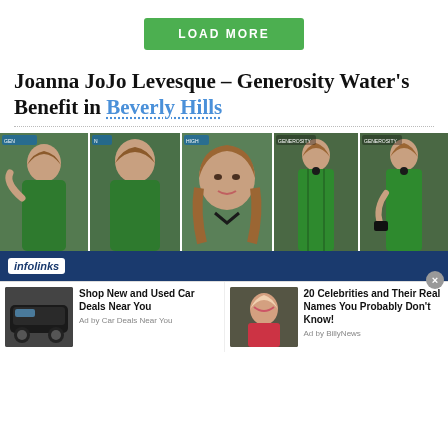[Figure (other): Green 'LOAD MORE' button centered on page]
Joanna JoJo Levesque – Generosity Water's Benefit in Beverly Hills
[Figure (photo): Photo strip of 5 images showing Joanna JoJo Levesque in green dress at Generosity Water's Benefit event in Beverly Hills]
[Figure (infographic): Infolinks advertisement bar with two ad items: 'Shop New and Used Car Deals Near You' (Ad by Car Deals Near You) and '20 Celebrities and Their Real Names You Probably Don't Know!' (Ad by BillyNews)]